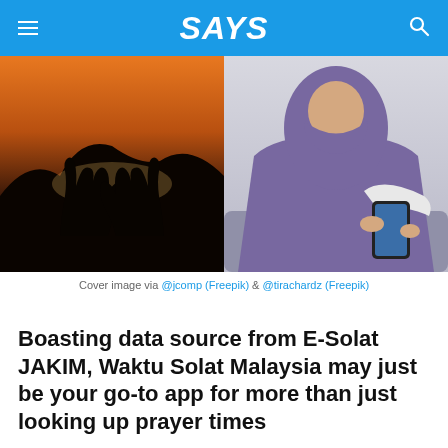SAYS
[Figure (photo): Split cover image: left side shows silhouette of raised hands in prayer against a sunset sky; right side shows a woman in a purple hijab using a smartphone]
Cover image via @jcomp (Freepik) & @tirachardz (Freepik)
Boasting data source from E-Solat JAKIM, Waktu Solat Malaysia may just be your go-to app for more than just looking up prayer times
The app's main appeal is its user-friendly interface, which is why